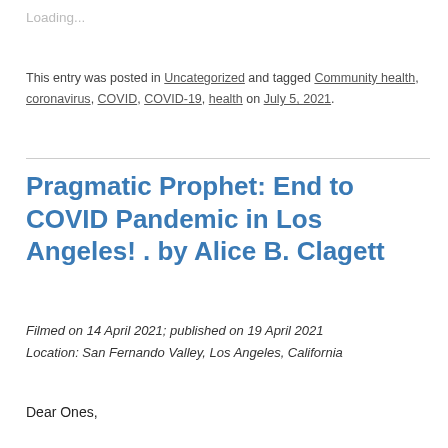Loading...
This entry was posted in Uncategorized and tagged Community health, coronavirus, COVID, COVID-19, health on July 5, 2021.
Pragmatic Prophet: End to COVID Pandemic in Los Angeles! . by Alice B. Clagett
Filmed on 14 April 2021; published on 19 April 2021
Location: San Fernando Valley, Los Angeles, California
Dear Ones,